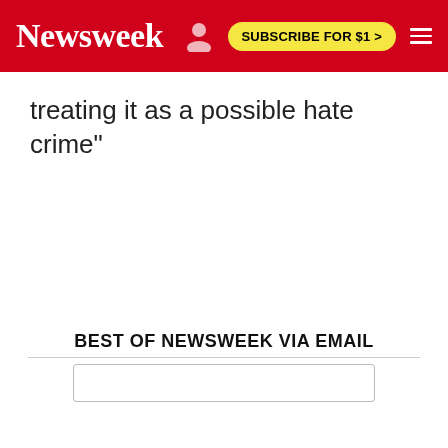Newsweek | SUBSCRIBE FOR $1 >
treating it as a possible hate crime"
BEST OF NEWSWEEK VIA EMAIL